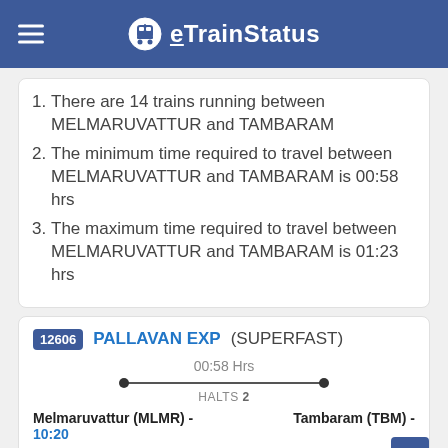eTrainStatus
There are 14 trains running between MELMARUVATTUR and TAMBARAM
The minimum time required to travel between MELMARUVATTUR and TAMBARAM is 00:58 hrs
The maximum time required to travel between MELMARUVATTUR and TAMBARAM is 01:23 hrs
12606 PALLAVAN EXP (SUPERFAST)
00:58 Hrs HALTS 2
Melmaruvattur (MLMR) - 10:20
Tambaram (TBM) -
Book Now
M T W T F S